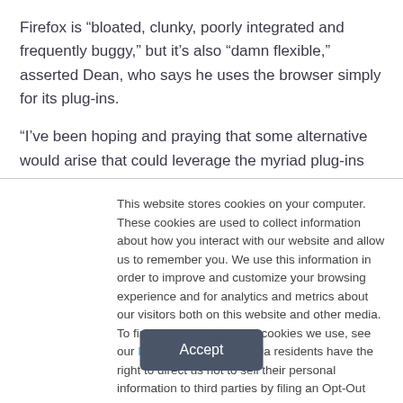Firefox is “bloated, clunky, poorly integrated and frequently buggy,” but it’s also “damn flexible,” asserted Dean, who says he uses the browser simply for its plug-ins.
“I’ve been hoping and praying that some alternative would arise that could leverage the myriad plug-ins and displace Firefox — strong brand be damned! — and deliver me from
This website stores cookies on your computer. These cookies are used to collect information about how you interact with our website and allow us to remember you. We use this information in order to improve and customize your browsing experience and for analytics and metrics about our visitors both on this website and other media. To find out more about the cookies we use, see our Privacy Policy. California residents have the right to direct us not to sell their personal information to third parties by filing an Opt-Out Request: Do Not Sell My Personal Info.
Accept